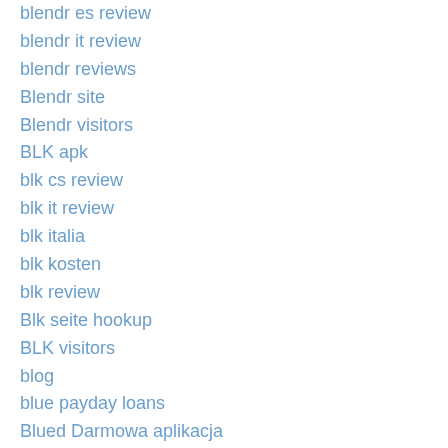blendr es review
blendr it review
blendr reviews
Blendr site
Blendr visitors
BLK apk
blk cs review
blk it review
blk italia
blk kosten
blk review
Blk seite hookup
BLK visitors
blog
blue payday loans
Blued Darmowa aplikacja
blued dating
blued es review